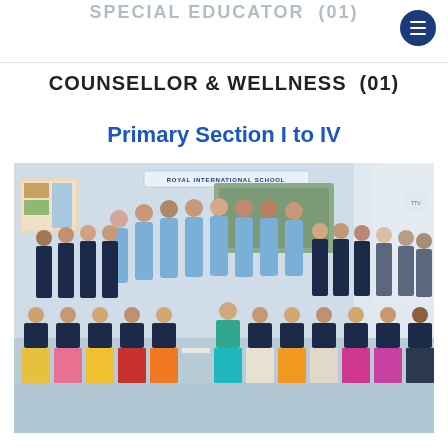SPECIAL EDUCATOR  (01)
COUNSELLOR & WELLNESS  (01)
Primary Section I to IV
[Figure (photo): Group photo of teachers and staff at Royal International School, with staff standing in rows — back row in light blue uniforms, middle and front rows in dark navy blazers. Several seated women in colorful traditional sarees in front row.]